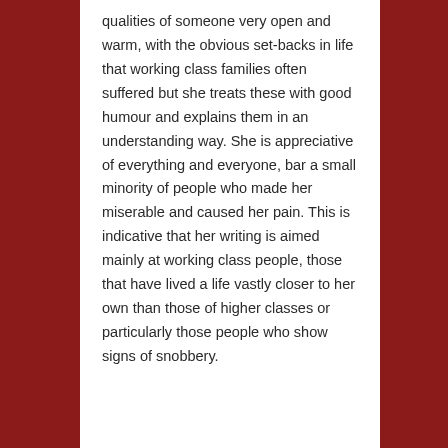qualities of someone very open and warm, with the obvious set-backs in life that working class families often suffered but she treats these with good humour and explains them in an understanding way. She is appreciative of everything and everyone, bar a small minority of people who made her miserable and caused her pain. This is indicative that her writing is aimed mainly at working class people, those that have lived a life vastly closer to her own than those of higher classes or particularly those people who show signs of snobbery.